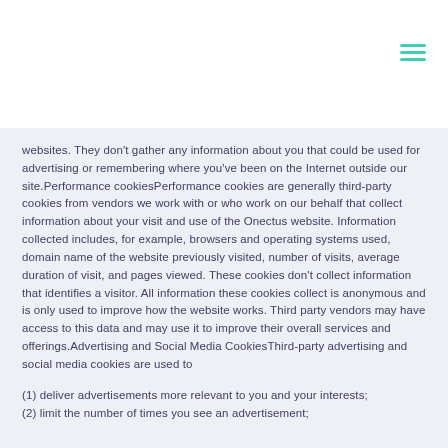[Figure (other): Hamburger menu icon (three horizontal teal lines) in top-right corner]
websites. They don't gather any information about you that could be used for advertising or remembering where you've been on the Internet outside our site.Performance cookiesPerformance cookies are generally third-party cookies from vendors we work with or who work on our behalf that collect information about your visit and use of the Onectus website. Information collected includes, for example, browsers and operating systems used, domain name of the website previously visited, number of visits, average duration of visit, and pages viewed. These cookies don't collect information that identifies a visitor. All information these cookies collect is anonymous and is only used to improve how the website works. Third party vendors may have access to this data and may use it to improve their overall services and offerings.Advertising and Social Media CookiesThird-party advertising and social media cookies are used to
(1) deliver advertisements more relevant to you and your interests;
(2) limit the number of times you see an advertisement;